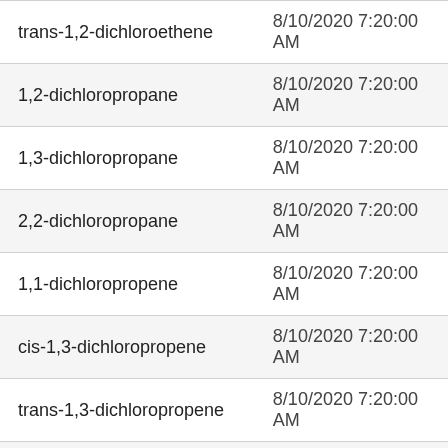| Compound | Date/Time |
| --- | --- |
| trans-1,2-dichloroethene | 8/10/2020 7:20:00 AM |
| 1,2-dichloropropane | 8/10/2020 7:20:00 AM |
| 1,3-dichloropropane | 8/10/2020 7:20:00 AM |
| 2,2-dichloropropane | 8/10/2020 7:20:00 AM |
| 1,1-dichloropropene | 8/10/2020 7:20:00 AM |
| cis-1,3-dichloropropene | 8/10/2020 7:20:00 AM |
| trans-1,3-dichloropropene | 8/10/2020 7:20:00 AM |
| ethylbenzene | 8/10/2020 7:20:00 AM |
| hexachlorobutadiene | 8/10/2020 7:20:00 AM |
| isopropylbenzene | 8/10/2020 7:20:00 AM |
| p-isopropyltoluene | 8/10/2020 7:20:00 AM |
| methylene chloride | 8/10/2020 7:20:00 AM |